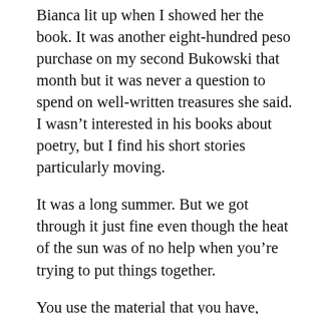Bianca lit up when I showed her the book. It was another eight-hundred peso purchase on my second Bukowski that month but it was never a question to spend on well-written treasures she said. I wasn't interested in his books about poetry, but I find his short stories particularly moving.
It was a long summer. But we got through it just fine even though the heat of the sun was of no help when you're trying to put things together.
You use the material that you have, Didion said.
So I put my dark glasses on, drink coke straight from the one-liter bottle while placing the words on the electronic page...